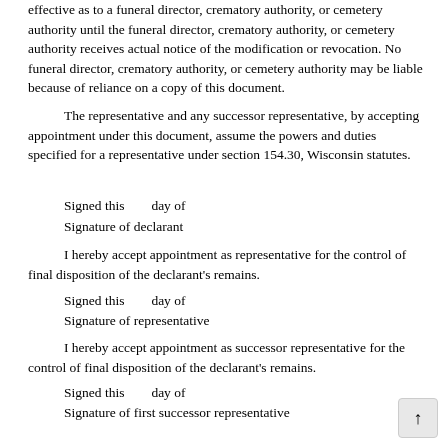effective as to a funeral director, crematory authority, or cemetery authority until the funeral director, crematory authority, or cemetery authority receives actual notice of the modification or revocation. No funeral director, crematory authority, or cemetery authority may be liable because of reliance on a copy of this document.
The representative and any successor representative, by accepting appointment under this document, assume the powers and duties specified for a representative under section 154.30, Wisconsin statutes.
Signed this      day of
Signature of declarant
I hereby accept appointment as representative for the control of final disposition of the declarant's remains.
Signed this      day of
Signature of representative
I hereby accept appointment as successor representative for the control of final disposition of the declarant's remains.
Signed this      day of
Signature of first successor representative
Signed this      day of
Signature of second successor representative
I attest that the declarant signed or acknowledged this authorization for final disposition in our presence and that the